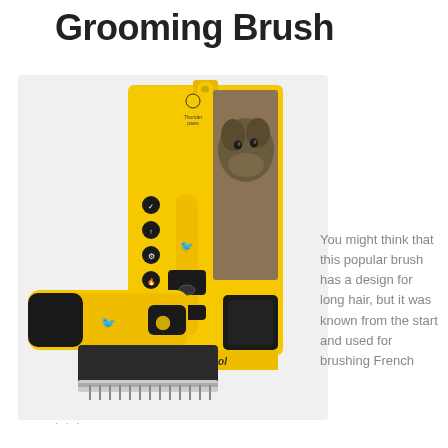Grooming Brush
[Figure (photo): Yellow and black pet grooming deshedding brush tool shown both in retail packaging (with a dog image and feature icons) and as a standalone product with metal tines blade.]
You might think that this popular brush has a design for long hair, but it was known from the start and used for brushing French
· · ·